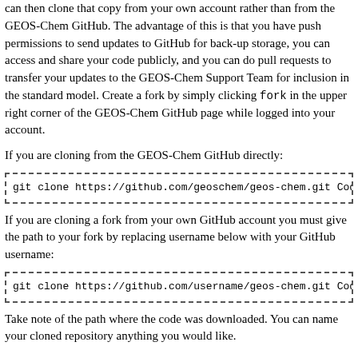can then clone that copy from your own account rather than from the GEOS-Chem GitHub. The advantage of this is that you have push permissions to send updates to GitHub for back-up storage, you can access and share your code publicly, and you can do pull requests to transfer your updates to the GEOS-Chem Support Team for inclusion in the standard model. Create a fork by simply clicking fork in the upper right corner of the GEOS-Chem GitHub page while logged into your account.
If you are cloning from the GEOS-Chem GitHub directly:
git clone https://github.com/geoschem/geos-chem.git Code.gchp
If you are cloning a fork from your own GitHub account you must give the path to your fork by replacing username below with your GitHub username:
git clone https://github.com/username/geos-chem.git Code.gchp
Take note of the path where the code was downloaded. You can name your cloned repository anything you would like.
Step 3. Download GCHR within GEOS-